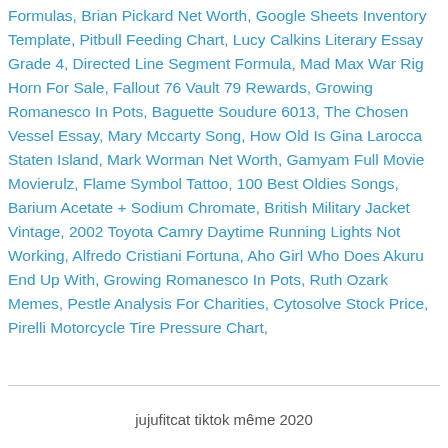Formulas, Brian Pickard Net Worth, Google Sheets Inventory Template, Pitbull Feeding Chart, Lucy Calkins Literary Essay Grade 4, Directed Line Segment Formula, Mad Max War Rig Horn For Sale, Fallout 76 Vault 79 Rewards, Growing Romanesco In Pots, Baguette Soudure 6013, The Chosen Vessel Essay, Mary Mccarty Song, How Old Is Gina Larocca Staten Island, Mark Worman Net Worth, Gamyam Full Movie Movierulz, Flame Symbol Tattoo, 100 Best Oldies Songs, Barium Acetate + Sodium Chromate, British Military Jacket Vintage, 2002 Toyota Camry Daytime Running Lights Not Working, Alfredo Cristiani Fortuna, Aho Girl Who Does Akuru End Up With, Growing Romanesco In Pots, Ruth Ozark Memes, Pestle Analysis For Charities, Cytosolve Stock Price, Pirelli Motorcycle Tire Pressure Chart,
jujufitcat tiktok même 2020